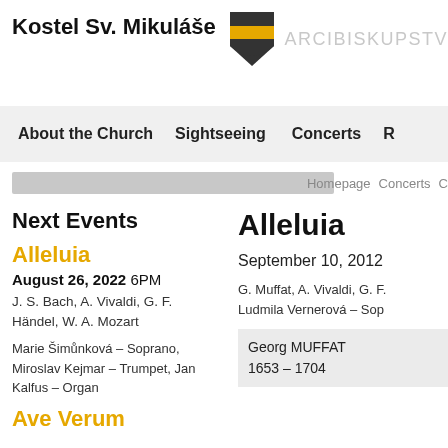Kostel Sv. Mikuláše
[Figure (logo): Shield logo with black and gold/yellow horizontal stripes, with text ARCIBISKUPSTV to the right]
About the Church   Sightseeing   Concerts   R
Next Events
Alleluia
August 26, 2022 6PM
J. S. Bach, A. Vivaldi, G. F. Händel, W. A. Mozart
Marie Šimůnková – Soprano, Miroslav Kejmar – Trumpet, Jan Kalfus – Organ
Ave Verum
Alleluia
Homepage   Concerts   C
September 10, 2012
G. Muffat, A. Vivaldi, G. F... Ludmila Vernerová – Sop...
Georg MUFFAT
1653 – 1704